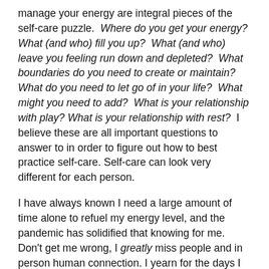manage your energy are integral pieces of the self-care puzzle.  Where do you get your energy?  What (and who) fill you up?  What (and who) leave you feeling run down and depleted?  What boundaries do you need to create or maintain? What do you need to let go of in your life?  What might you need to add?  What is your relationship with play? What is your relationship with rest?  I believe these are all important questions to answer to in order to figure out how to best practice self-care. Self-care can look very different for each person.
I have always known I need a large amount of time alone to refuel my energy level, and the pandemic has solidified that knowing for me.  Don't get me wrong, I greatly miss people and in person human connection. I yearn for the days I will be able to safely go out to dinner with friends, interact with students more in person, eat lunch with my co-workers, and have large family gatherings again. However, I have enjoyed my time at home alone much of the time during the pandemic. I discovered through the pandemic that in the future I need to make a